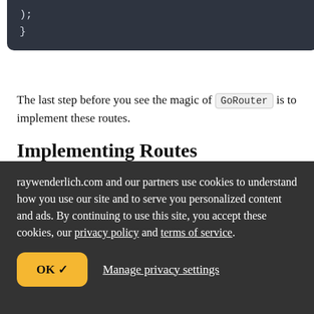[Figure (screenshot): Dark code block showing closing parenthesis and brace: ); and }]
The last step before you see the magic of GoRouter is to implement these routes.
Implementing Routes
Open login.dart in the ui directory. In the import
raywenderlich.com and our partners use cookies to understand how you use our site and to serve you personalized content and ads. By continuing to use this site, you accept these cookies, our privacy policy and terms of service.
OK ✓   Manage privacy settings